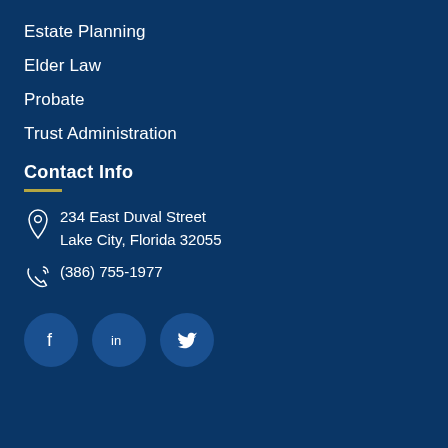Estate Planning
Elder Law
Probate
Trust Administration
Contact Info
234 East Duval Street
Lake City, Florida 32055
(386) 755-1977
[Figure (illustration): Social media icons: Facebook, LinkedIn, Twitter in circular blue buttons]